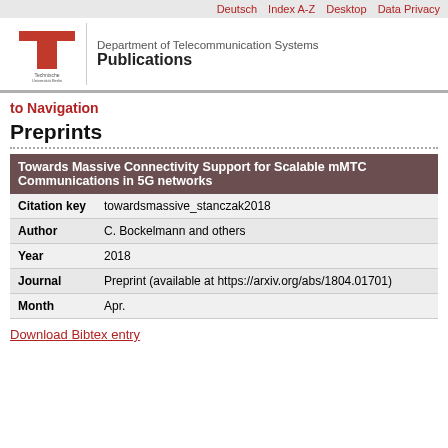Deutsch  Index A-Z  Desktop  Data Privacy
[Figure (logo): TU Berlin logo — red geometric T-shaped mark with university wordmark]
Department of Telecommunication Systems
Publications
to Navigation
Preprints
| Towards Massive Connectivity Support for Scalable mMTC Communications in 5G networks |
| --- |
| Citation key | towardsmassive_stanczak2018 |
| Author | C. Bockelmann and others |
| Year | 2018 |
| Journal | Preprint (available at https://arxiv.org/abs/1804.01701) |
| Month | Apr. |
Download Bibtex entry